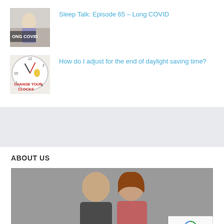Sleep Talk: Episode 65 – Long COVID
How do I adjust for the end of daylight saving time?
ABOUT US
[Figure (photo): Two people (a bald man and a woman with auburn hair) posing together against a gray background]